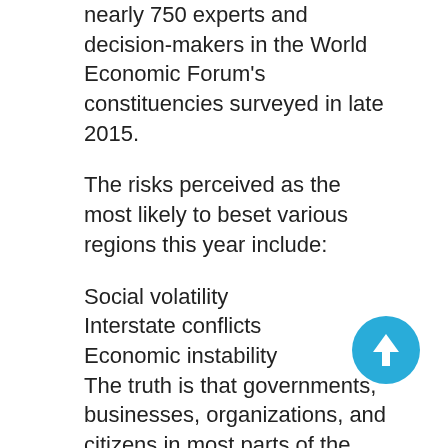nearly 750 experts and decision-makers in the World Economic Forum's constituencies surveyed in late 2015.
The risks perceived as the most likely to beset various regions this year include:
Social volatility
Interstate conflicts
Economic instability
The truth is that governments, businesses, organizations, and citizens in most parts of the world face pretty much the same dangers from cyber threats as their North American counterparts.
The Grant Thornton International Business Report 2015, for example, shows that cyber